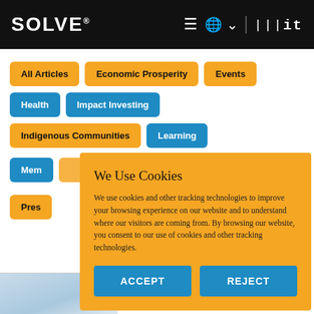SOLVE® MIT
All Articles
Economic Prosperity
Events
Health
Impact Investing
Indigenous Communities
Learning
Mem[bers]
Pres[s]
We Use Cookies
We use cookies and other tracking technologies to improve your browsing experience on our website and to understand where our visitors are coming from. By browsing our website, you consent to our use of cookies and other tracking technologies.
ACCEPT
REJECT